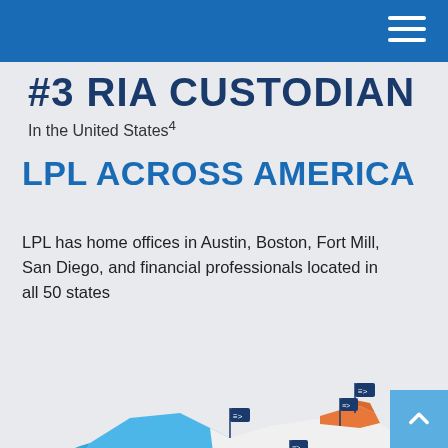#3 RIA CUSTODIAN
In the United States⁴
LPL ACROSS AMERICA
LPL has home offices in Austin, Boston, Fort Mill, San Diego, and financial professionals located in all 50 states
[Figure (map): Isometric illustrated map of the United States showing LPL office locations. The western region is highlighted in blue and the northeast region in orange, with LPL flag markers at office locations in Fort Mill, San Diego, Austin, and Boston.]